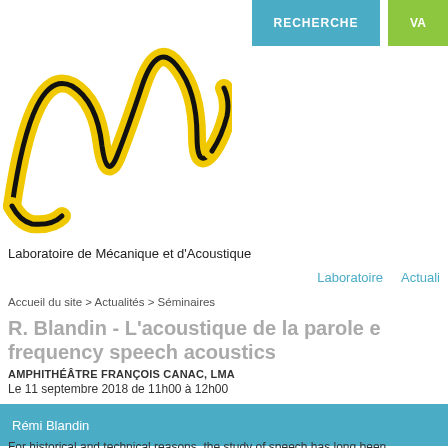[Figure (logo): LMA logo — yellow and black wave/cursive letters forming 'LMA']
Laboratoire de Mécanique et d'Acoustique
RECHERCHE | VA
Laboratoire   Actuali
Accueil du site > Actualités > Séminaires
R. Blandin - L'acoustique de la parole e… frequency speech acoustics
AMPHITHÉÂTRE FRANÇOIS CANAC, LMA
Le 11 septembre 2018 de 11h00 à 12h00
Rémi Blandin
For historical and technical reasons, the study of speech has long been